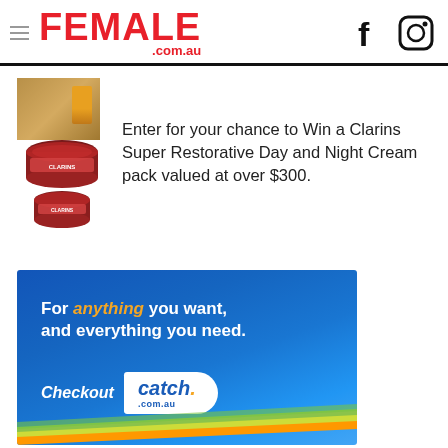FEMALE.com.au
[Figure (photo): Partial thumbnail of an article image, brownish/gold tones]
Enter for your chance to Win a Clarins Super Restorative Day and Night Cream pack valued at over $300.
[Figure (photo): Clarins Super Restorative Day and Night Cream product image — two red cream jars]
[Figure (advertisement): Catch.com.au advertisement banner — blue background with text 'For anything you want, and everything you need. Checkout catch. .com.au' with colored diagonal stripes at bottom]